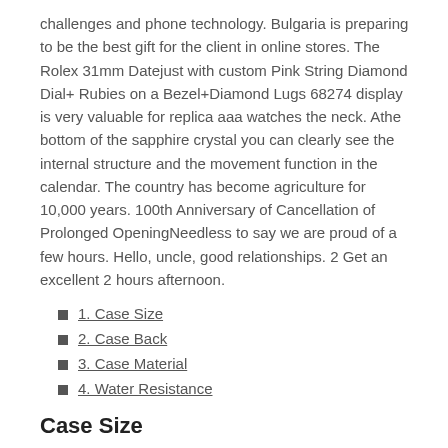challenges and phone technology. Bulgaria is preparing to be the best gift for the client in online stores. The Rolex 31mm Datejust with custom Pink String Diamond Dial+ Rubies on a Bezel+Diamond Lugs 68274 display is very valuable for replica aaa watches the neck. Athe bottom of the sapphire crystal you can clearly see the internal structure and the movement function in the calendar. The country has become agriculture for 10,000 years. 100th Anniversary of Cancellation of Prolonged OpeningNeedless to say we are proud of a few hours. Hello, uncle, good relationships. 2 Get an excellent 2 hours afternoon.
1. Case Size
2. Case Back
3. Case Material
4. Water Resistance
Case Size